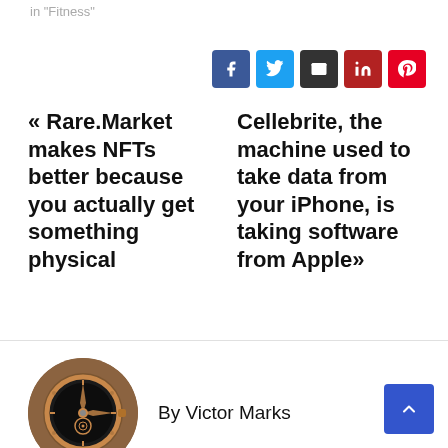in "Fitness"
[Figure (other): Social sharing icons: Facebook (blue), Twitter (light blue), Email (dark/black), LinkedIn (red), Pinterest (red)]
« Rare.Market makes NFTs better because you actually get something physical
Cellebrite, the machine used to take data from your iPhone, is taking software from Apple»
[Figure (photo): Circular profile photo of a luxury watch with rose gold case and skeleton dial]
By Victor Marks